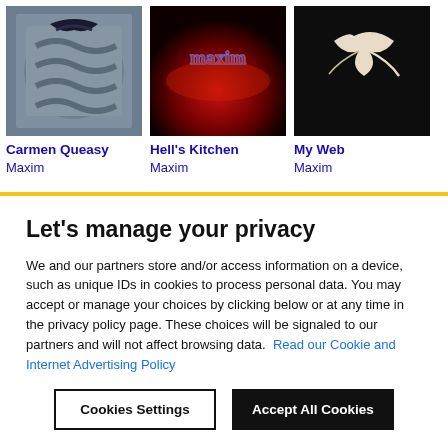[Figure (photo): Album cover for Carmen Queasy by Maxim - dark chains with gothic logo]
[Figure (photo): Album cover for Hell's Kitchen by Maxim - red glowing neon text on dark background]
[Figure (photo): Album cover for My Web by Maxim - dark background with white abstract shape]
Carmen Queasy
Maxim
Hell's Kitchen
Maxim
My Web
Maxim
Let's manage your privacy
We and our partners store and/or access information on a device, such as unique IDs in cookies to process personal data. You may accept or manage your choices by clicking below or at any time in the privacy policy page. These choices will be signaled to our partners and will not affect browsing data. Read our Cookie and Internet Advertising Policy
Cookies Settings
Accept All Cookies